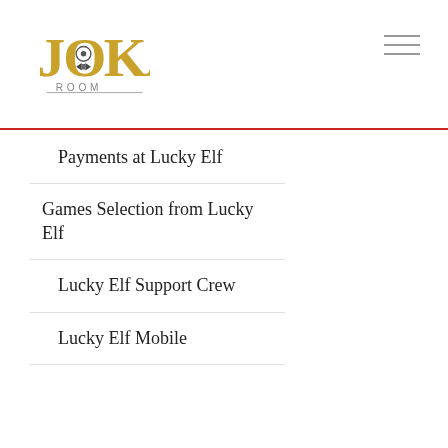[Figure (logo): JokaRoom casino logo with gold lettering and bow-tie icon]
Payments at Lucky Elf
Games Selection from Lucky Elf
Lucky Elf Support Crew
Lucky Elf Mobile